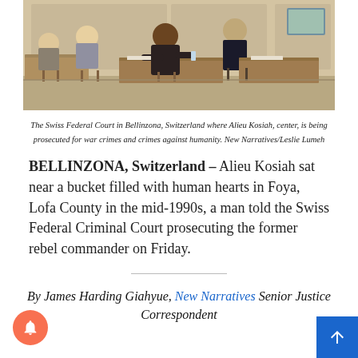[Figure (illustration): Courtroom sketch of The Swiss Federal Court in Bellinzona showing Alieu Kosiah center being prosecuted, several figures seated at tables]
The Swiss Federal Court in Bellinzona, Switzerland where Alieu Kosiah, center, is being prosecuted for war crimes and crimes against humanity. New Narratives/Leslie Lumeh
BELLINZONA, Switzerland – Alieu Kosiah sat near a bucket filled with human hearts in Foya, Lofa County in the mid-1990s, a man told the Swiss Federal Criminal Court prosecuting the former rebel commander on Friday.
By James Harding Giahyue, New Narratives Senior Justice Correspondent